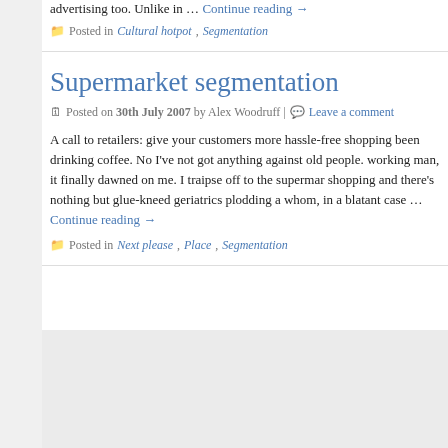advertising too. Unlike in … Continue reading →
Posted in Cultural hotpot, Segmentation
Supermarket segmentation
Posted on 30th July 2007 by Alex Woodruff | Leave a comment
A call to retailers: give your customers more hassle-free shopping been drinking coffee. No I've not got anything against old people. working man, it finally dawned on me. I traipse off to the supermar shopping and there's nothing but glue-kneed geriatrics plodding a whom, in a blatant case … Continue reading →
Posted in Next please, Place, Segmentation